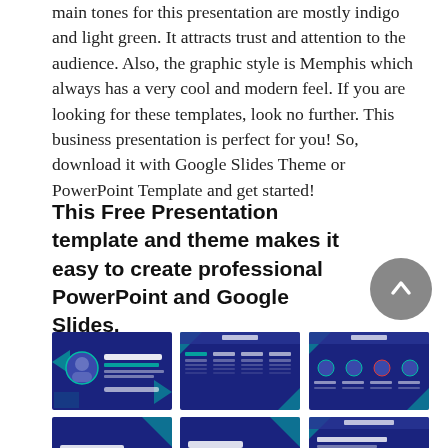main tones for this presentation are mostly indigo and light green. It attracts trust and attention to the audience. Also, the graphic style is Memphis which always has a very cool and modern feel. If you are looking for these templates, look no further. This business presentation is perfect for you! So, download it with Google Slides Theme or PowerPoint Template and get started!
This Free Presentation template and theme makes it easy to create professional PowerPoint and Google Slides.
[Figure (screenshot): Grid of 6 business presentation slide thumbnails with dark indigo/blue background and green accents, showing slides titled Business Conference, Contents, Agenda, Section break slide title, Section break slide title #2, and Introduction]